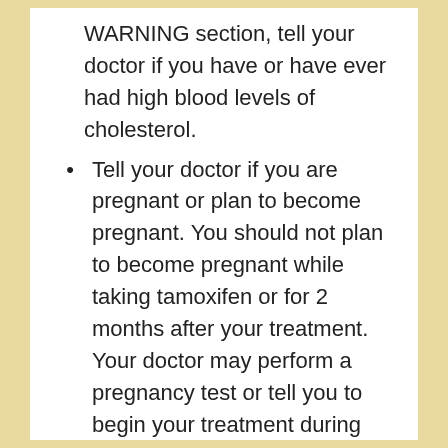WARNING section, tell your doctor if you have or have ever had high blood levels of cholesterol.
Tell your doctor if you are pregnant or plan to become pregnant. You should not plan to become pregnant while taking tamoxifen or for 2 months after your treatment. Your doctor may perform a pregnancy test or tell you to begin your treatment during your menstrual period to be sure that you are not pregnant when you begin taking tamoxifen. You will need to use a